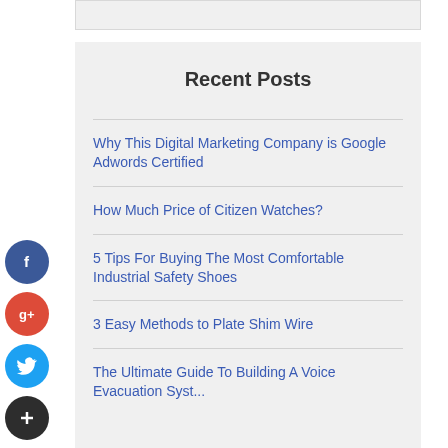Recent Posts
Why This Digital Marketing Company is Google Adwords Certified
How Much Price of Citizen Watches?
5 Tips For Buying The Most Comfortable Industrial Safety Shoes
3 Easy Methods to Plate Shim Wire
The Ultimate Guide To Building A ...